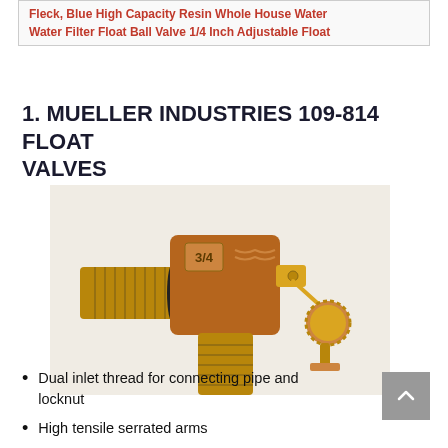Fleck, Blue High Capacity Resin Whole House Water
Water Filter Float Ball Valve 1/4 Inch Adjustable Float
1. MUELLER INDUSTRIES 109-814 FLOAT VALVES
[Figure (photo): Brass Mueller Industries 109-814 float valve with dual inlet threads, locknut, and high tensile serrated arm mechanism, shown on white background.]
Dual inlet thread for connecting pipe and locknut
High tensile serrated arms